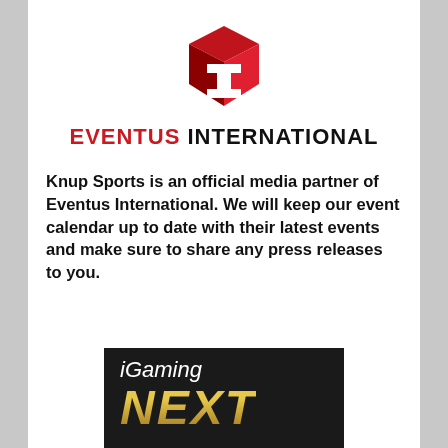[Figure (logo): Eventus International logo: red 3D cube icon with white 'I' letter cutout, and text 'EVENTUS INTERNATIONAL' below in red and black bold uppercase]
Knup Sports is an official media partner of Eventus International. We will keep our event calendar up to date with their latest events and make sure to share any press releases to you.
[Figure (illustration): iGaming NEXT logo on dark/black background — white italic text 'iGaming' above large gold/yellow bold italic 'NEXT' text]